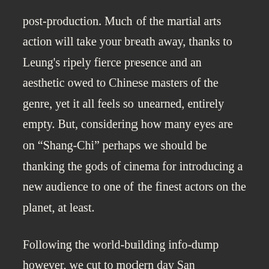post-production. Much of the martial arts action will take your breath away, thanks to Leung's ripely fierce presence and an aesthetic owed to Chinese masters of the genre, yet it all feels so unearned, entirely empty. But, considering how many eyes are on “Shang-Chi” perhaps we should be thanking the gods of cinema for introducing a new audience to one of the finest actors on the planet, at least.
Following the world-building info-dump however, we cut to modern day San Francisco, where we are introduced to “Shaun” (at least that’s what it reads on his valet tag), whom Marvel’s origin story format has already primed us to know will be the hero of our